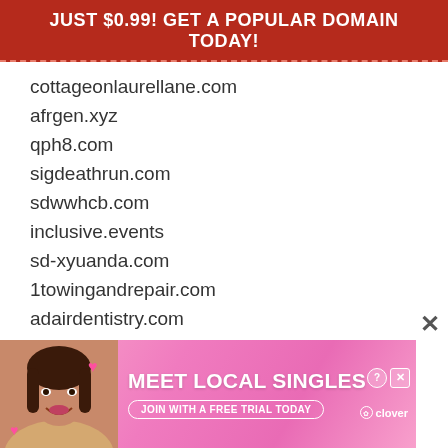JUST $0.99! GET A POPULAR DOMAIN TODAY!
cottageonlaurellane.com
afrgen.xyz
qph8.com
sigdeathrun.com
sdwwhcb.com
inclusive.events
sd-xyuanda.com
1towingandrepair.com
adairdentistry.com
3cka-we.com
nickpitt.com
app904.com
trips-toredsea.com
highersourceprintsolutions.com
empoweredhhc.com
alerte...
busin...
[Figure (infographic): Meet Local Singles advertisement banner with a woman photo, pink gradient background, clover logo, and 'JOIN WITH A FREE TRIAL TODAY' button]